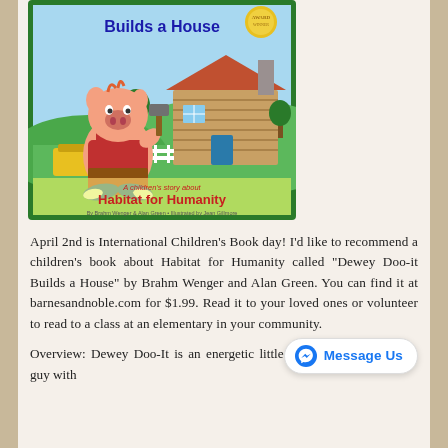[Figure (illustration): Book cover of 'Dewey Doo-it Builds a House' showing a cartoon pig in overalls holding a hammer, standing in front of a log cabin. Text reads 'A children's story about Habitat for Humanity'. Authors: Brahm Wenger & Alan Green, Illustrated by Jean Gillmore.]
April 2nd is International Children's Book day! I'd like to recommend a children's book about Habitat for Humanity called "Dewey Doo-it Builds a House" by Brahm Wenger and Alan Green. You can find it at barnesandnoble.com for $1.99. Read it to your loved ones or volunteer to read to a class at an elementary in your community.
Overview: Dewey Doo-It is an energetic little guy with